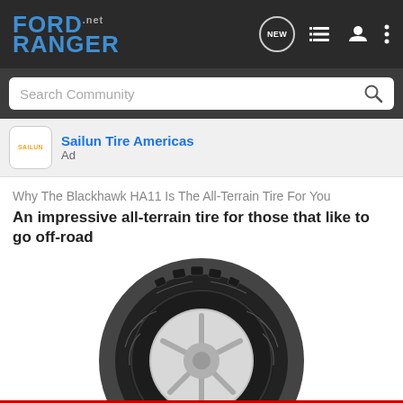FORD RANGER .net navigation bar with search community
Sailun Tire Americas
Ad
Why The Blackhawk HA11 Is The All-Terrain Tire For You
An impressive all-terrain tire for those that like to go off-road
[Figure (photo): Blackhawk HA11 all-terrain tire on silver wheel, full view from side/front angle, black rubber with aggressive tread pattern]
[Figure (photo): Nitto Nomad Grappler Crossover-Terrain Tire advertisement banner, dark background with tire on right side. Text: ALL-NEW NOMAD GRAPPLER CROSSOVER-TERRAIN TIRE]